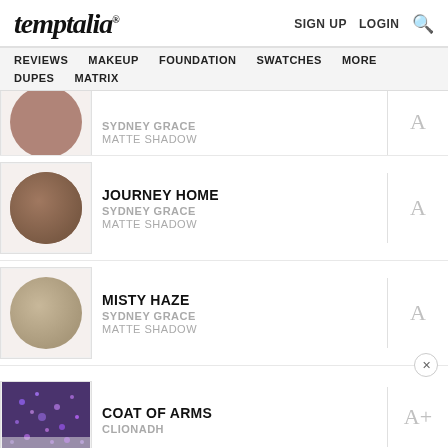temptalia® | SIGN UP | LOGIN | SEARCH
REVIEWS | MAKEUP | FOUNDATION | SWATCHES | MORE | DUPES | MATRIX
SYDNEY GRACE – MATTE SHADOW – Grade: A
JOURNEY HOME – SYDNEY GRACE – MATTE SHADOW – Grade: A
MISTY HAZE – SYDNEY GRACE – MATTE SHADOW – Grade: A
COAT OF ARMS – CLIONADH – Grade: A+
[Figure (infographic): Advertisement banner: 'Find your perfect somewhere' with nature/travel imagery background]